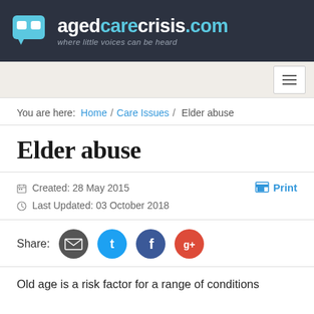agedcarecrisis.com — where little voices can be heard
You are here: Home / Care Issues / Elder abuse
Elder abuse
Created: 28 May 2015
Last Updated: 03 October 2018
Share:
Old age is a risk factor for a range of conditions